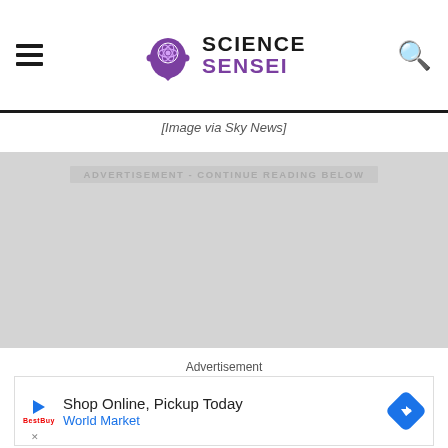Science Sensei
[Image via Sky News]
[Figure (other): Advertisement placeholder area with text ADVERTISEMENT - CONTINUE READING BELOW]
Advertisement
[Figure (other): Ad banner: Shop Online, Pickup Today - World Market with play button, logo and diamond arrow icon]